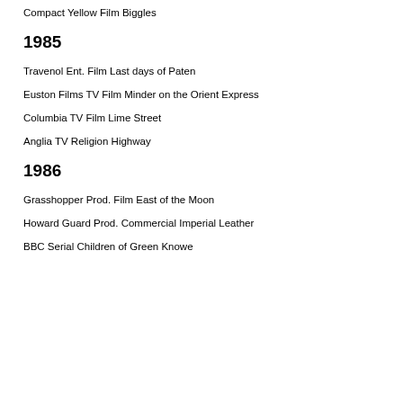Compact Yellow Film Biggles
1985
Travenol Ent. Film Last days of Paten
Euston Films TV Film Minder on the Orient Express
Columbia TV Film Lime Street
Anglia TV Religion Highway
1986
Grasshopper Prod. Film East of the Moon
Howard Guard Prod. Commercial Imperial Leather
BBC Serial Children of Green Knowe